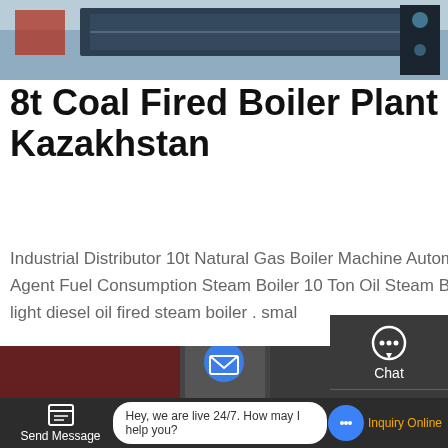[Figure (photo): Industrial boiler equipment photo showing blue/dark metal machinery on a workshop floor]
8t Coal Fired Boiler Plant Industrial Distributor Kazakhstan
Industrial Distributor 10t Natural Gas Boiler Machine Automatic 2t Natural Gas Boiler Bhutan. 6T 1 Ton Boiler Agent Fuel Consumption Steam Boiler 10 Ton Oil Steam Boiler - cmp-h.org.uk. WNS 1t 2t 3t 4t 6t 8t 10t natural light diesel oil fired steam boiler . smal
Get A Quote
Chat
Email
Contact
[Figure (photo): Second product image strip at bottom showing industrial boiler machinery]
Send Message
Hey, we are live 24/7. How may I help you?
Inquiry Online